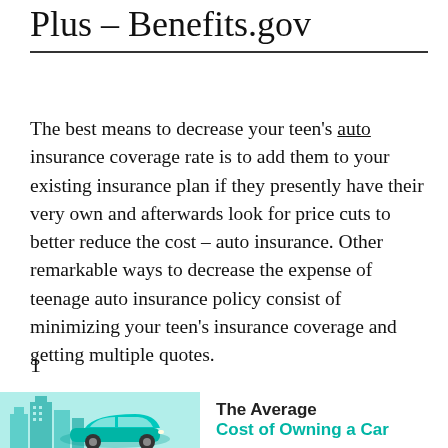Plus – Benefits.gov
The best means to decrease your teen's auto insurance coverage rate is to add them to your existing insurance plan if they presently have their very own and afterwards look for price cuts to better reduce the cost – auto insurance. Other remarkable ways to decrease the expense of teenage auto insurance policy consist of minimizing your teen's insurance coverage and getting multiple quotes.
1
[Figure (infographic): Infographic showing a teal car in front of a city skyline with the text 'The Average Cost of Owning a Car']